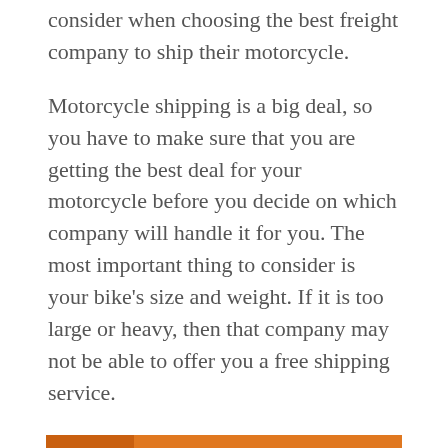consider when choosing the best freight company to ship their motorcycle.
Motorcycle shipping is a big deal, so you have to make sure that you are getting the best deal for your motorcycle before you decide on which company will handle it for you. The most important thing to consider is your bike's size and weight. If it is too large or heavy, then that company may not be able to offer you a free shipping service.
READ MORE: New 27" Apple Thunderbolt Displays Now Shipping to Stores